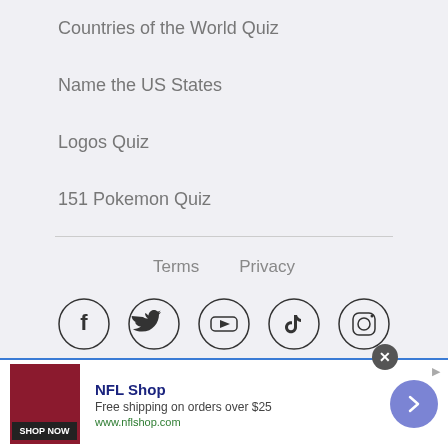Countries of the World Quiz
Name the US States
Logos Quiz
151 Pokemon Quiz
Terms   Privacy
[Figure (illustration): Social media icons in circles: Facebook, Twitter, YouTube, TikTok, Instagram]
View Full Site   Get the App
[Figure (infographic): Advertisement banner: NFL Shop - Free shipping on orders over $25 - www.nflshop.com - SHOP NOW button]